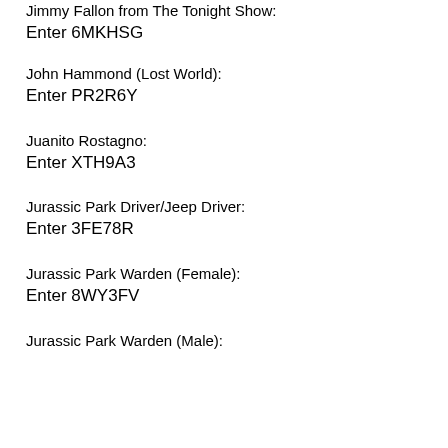Jimmy Fallon from The Tonight Show:
Enter 6MKHSG
John Hammond (Lost World):
Enter PR2R6Y
Juanito Rostagno:
Enter XTH9A3
Jurassic Park Driver/Jeep Driver:
Enter 3FE78R
Jurassic Park Warden (Female):
Enter 8WY3FV
Jurassic Park Warden (Male):